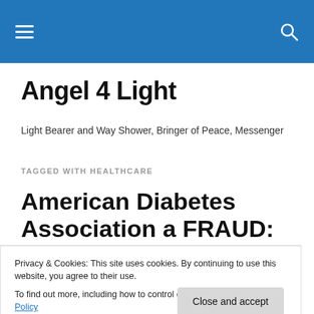Angel 4 Light - navigation bar
Angel 4 Light
Light Bearer and Way Shower, Bringer of Peace, Messenger
TAGGED WITH HEALTHCARE
American Diabetes Association a FRAUD: Recipes
Privacy & Cookies: This site uses cookies. By continuing to use this website, you agree to their use.
To find out more, including how to control cookies, see here: Cookie Policy